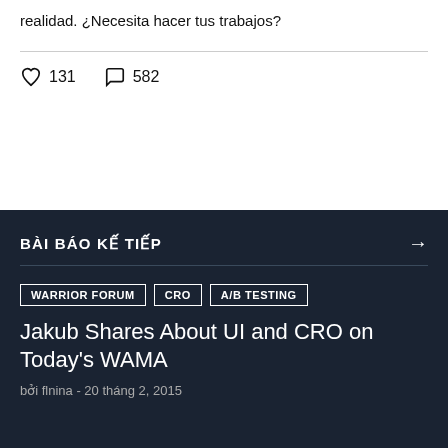realidad. ¿Necesita hacer tus trabajos?
♡ 131   ◯ 582
BÀI BÁO KẾ TIẾP →
WARRIOR FORUM   CRO   A/B TESTING
Jakub Shares About UI and CRO on Today's WAMA
bởi flnina - 20 tháng 2, 2015